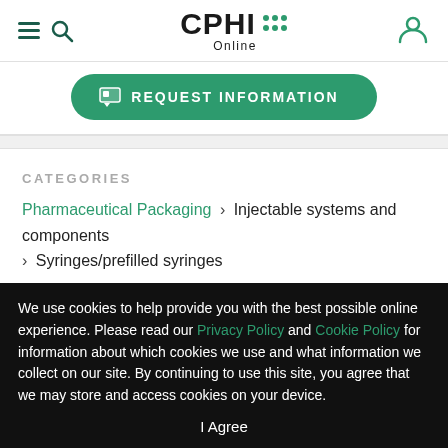CPHI Online
[Figure (screenshot): REQUEST INFORMATION button with chat icon, green rounded rectangle]
CATEGORIES
Pharmaceutical Packaging > Injectable systems and components > Syringes/prefilled syringes
Pharmaceutical Packaging > Primary Packaging
Pharmaceutical Packaging
MORE CATEGORIES
We use cookies to help provide you with the best possible online experience. Please read our Privacy Policy and Cookie Policy for information about which cookies we use and what information we collect on our site. By continuing to use this site, you agree that we may store and access cookies on your device.
I Agree